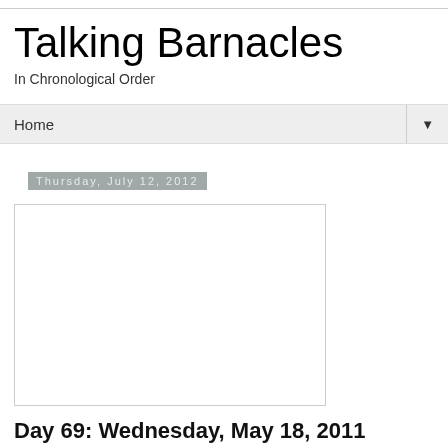Talking Barnacles
In Chronological Order
Home ▼
Thursday, July 12, 2012
[Figure (other): Empty white rectangle with border — placeholder image for blog post]
Day 69: Wednesday, May 18, 2011